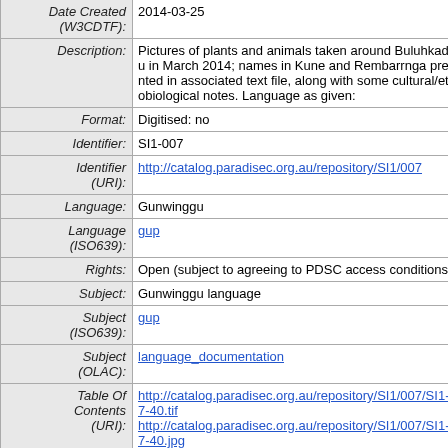| Field | Value |
| --- | --- |
| Date Created (W3CDTF): | 2014-03-25 |
| Description: | Pictures of plants and animals taken around Buluhkaduru in March 2014; names in Kune and Rembarrnga presented in associated text file, along with some cultural/ethnobiological notes. Language as given: |
| Format: | Digitised: no |
| Identifier: | SI1-007 |
| Identifier (URI): | http://catalog.paradisec.org.au/repository/SI1/007 |
| Language: | Gunwinggu |
| Language (ISO639): | gup |
| Rights: | Open (subject to agreeing to PDSC access conditions) |
| Subject: | Gunwinggu language |
| Subject (ISO639): | gup |
| Subject (OLAC): | language_documentation |
| Table Of Contents (URI): | http://catalog.paradisec.org.au/repository/SI1/007/SI1-007-40.tif
http://catalog.paradisec.org.au/repository/SI1/007/SI1-007-40.jpg |